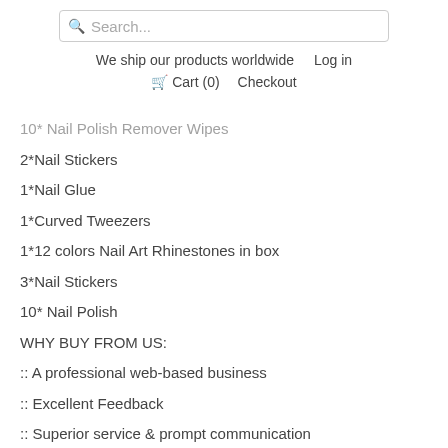Search... | We ship our products worldwide | Log in | Cart (0) | Checkout
10* Nail Polish Remover Wipes
2*Nail Stickers
1*Nail Glue
1*Curved Tweezers
1*12 colors Nail Art Rhinestones in box
3*Nail Stickers
10* Nail Polish
WHY BUY FROM US:
:: A professional web-based business
:: Excellent Feedback
:: Superior service & prompt communication
:: 30 Days Hassle-Free replacement / repair warranty. Conditions apply